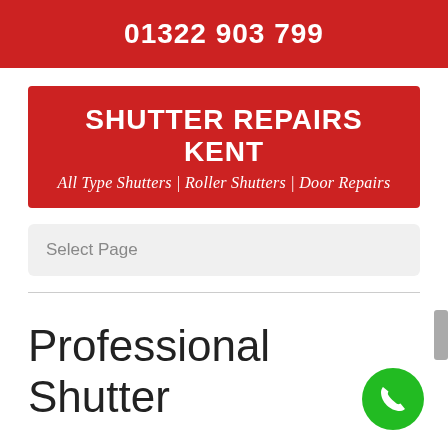01322 903 799
SHUTTER REPAIRS KENT
All Type Shutters | Roller Shutters | Door Repairs
Select Page
Professional Shutter Repairs Crowdleham